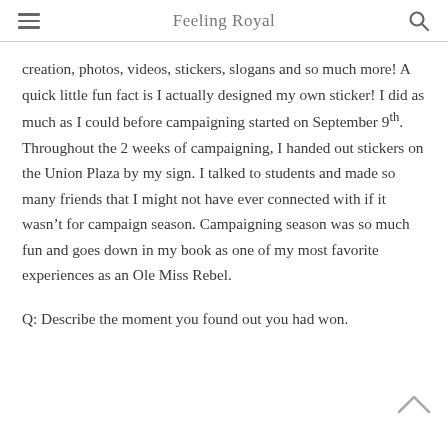Feeling Royal
creation, photos, videos, stickers, slogans and so much more! A quick little fun fact is I actually designed my own sticker! I did as much as I could before campaigning started on September 9th. Throughout the 2 weeks of campaigning, I handed out stickers on the Union Plaza by my sign. I talked to students and made so many friends that I might not have ever connected with if it wasn't for campaign season. Campaigning season was so much fun and goes down in my book as one of my most favorite experiences as an Ole Miss Rebel.
Q: Describe the moment you found out you had won. How did you feel? What did you do to celebrate?